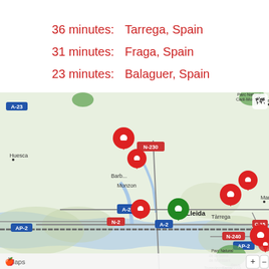36 minutes:   Tarrega, Spain
31 minutes:   Fraga, Spain
23 minutes:   Balaguer, Spain
[Figure (map): Apple Maps view centered on Lleida, Spain showing red location pins at various nearby cities including Tarrega, Fraga, Balaguer, Monzon, Barbastro area, and a green pin at Lleida. Road labels include A-23, N-230, A-22, A-2, AP-2, N-2, N-240, C-15. Cities labeled include Huesca, Lleida, Tarrega, Manresa, Vilafranca del Penedes, Reus, Tarragona. Apple Maps branding visible at bottom left.]